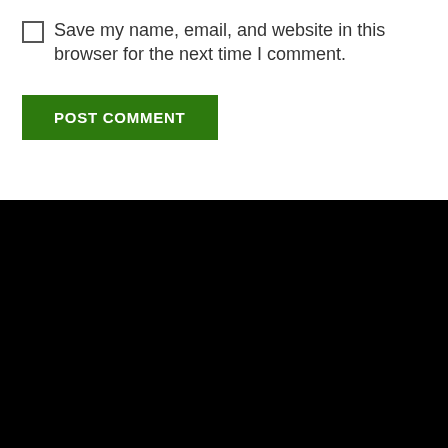Save my name, email, and website in this browser for the next time I comment.
POST COMMENT